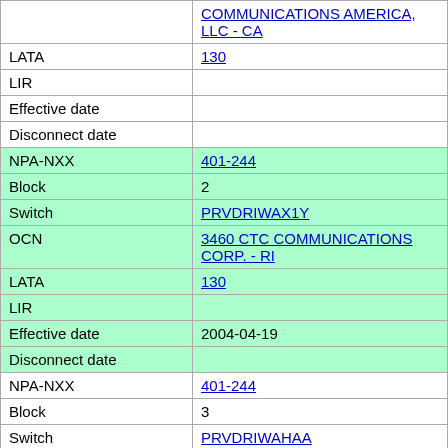| (continuation) | COMMUNICATIONS AMERICA, LLC - CA |
| LATA | 130 |
| LIR |  |
| Effective date |  |
| Disconnect date |  |
| NPA-NXX | 401-244 |
| Block | 2 |
| Switch | PRVDRIWAX1Y |
| OCN | 3460 CTC COMMUNICATIONS CORP. - RI |
| LATA | 130 |
| LIR |  |
| Effective date | 2004-04-19 |
| Disconnect date |  |
| NPA-NXX | 401-244 |
| Block | 3 |
| Switch | PRVDRIWAHAA |
| OCN | 9248 BROADVIEW NETWORKS, INC. - RI |
| LATA | 130 |
| LIR |  |